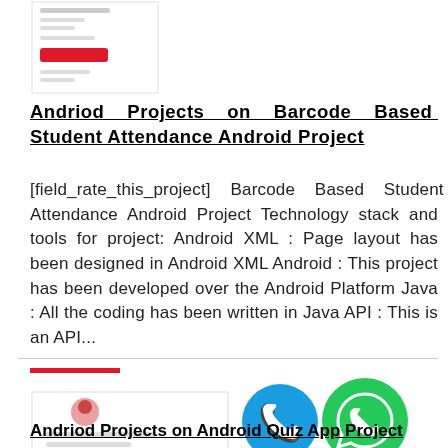[Figure (screenshot): Screenshot of an Android app interface with a red button, shown as a small thumbnail]
Andriod Projects on Barcode Based Student Attendance Android Project
[field_rate_this_project]   Barcode Based Student Attendance Android Project Technology stack and tools for project: Android XML : Page layout has been designed in Android XML Android : This project has been developed over the Android Platform Java : All the coding has been written in Java API : This is an API...
[Figure (screenshot): Screenshot of an Android app with a profile/avatar icon and red button, shown as a thumbnail. Overlaid with phone call icon (blue) and WhatsApp icon (green).]
Andriod Projects on Android Quiz App Project